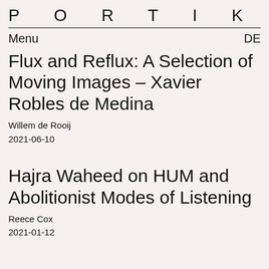P O R T I K U S
Menu    DE
Flux and Reflux: A Selection of Moving Images – Xavier Robles de Medina
Willem de Rooij
2021-06-10
Hajra Waheed on HUM and Abolitionist Modes of Listening
Reece Cox
2021-01-12